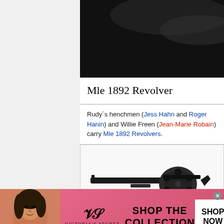[Figure (photo): Dark/black background image at top of article, partial view]
Mle 1892 Revolver
Rudy´s henchmen (Jess Hahn and Roger Hanin) and Willie Freen (Jean-Marie Robain) carry Mle 1892 Revolvers.
[Figure (photo): Photo of an Mle 1892 Revolver handgun, black metal with wooden grip, shown from the left side]
[Figure (photo): Victoria's Secret advertisement banner with model, VS logo, 'SHOP THE COLLECTION' text, and 'SHOP NOW' button]